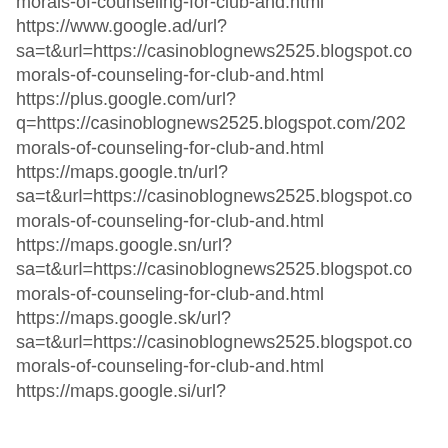morals-of-counseling-for-club-and.html https://www.google.ad/url? sa=t&url=https://casinoblognews2525.blogspot.co morals-of-counseling-for-club-and.html https://plus.google.com/url? q=https://casinoblognews2525.blogspot.com/202 morals-of-counseling-for-club-and.html https://maps.google.tn/url? sa=t&url=https://casinoblognews2525.blogspot.co morals-of-counseling-for-club-and.html https://maps.google.sn/url? sa=t&url=https://casinoblognews2525.blogspot.co morals-of-counseling-for-club-and.html https://maps.google.sk/url? sa=t&url=https://casinoblognews2525.blogspot.co morals-of-counseling-for-club-and.html https://maps.google.si/url?